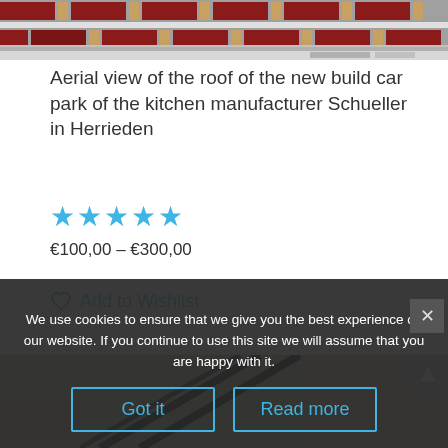[Figure (photo): Aerial view of a rooftop car park with brick/tile pattern in red and white colors]
Aerial view of the roof of the new build car park of the kitchen manufacturer Schueller in Herrieden
★★★★★
€100,00 – €300,00
♡ Add to Wishlist
[Figure (photo): Close-up photo of cables or wires on a concrete surface]
We use cookies to ensure that we give you the best experience on our website. If you continue to use this site we will assume that you are happy with it.
Got it
Read more